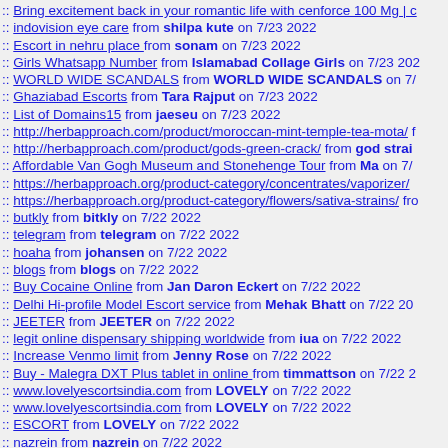:: Bring excitement back in your romantic life with cenforce 100 Mg | c...
:: indovision eye care from shilpa kute on 7/23 2022
:: Escort in nehru place from sonam on 7/23 2022
:: Girls Whatsapp Number from Islamabad Collage Girls on 7/23 202...
:: WORLD WIDE SCANDALS from WORLD WIDE SCANDALS on 7/...
:: Ghaziabad Escorts from Tara Rajput on 7/23 2022
:: List of Domains15 from jaeseu on 7/23 2022
:: http://herbapproach.com/product/moroccan-mint-temple-tea-mota/ f...
:: http://herbapproach.com/product/gods-green-crack/ from god strai...
:: Affordable Van Gogh Museum and Stonehenge Tour from Ma on 7/...
:: https://herbapproach.org/product-category/concentrates/vaporizer/ ...
:: https://herbapproach.org/product-category/flowers/sativa-strains/ fro...
:: butkly from bitkly on 7/22 2022
:: telegram from telegram on 7/22 2022
:: hoaha from johansen on 7/22 2022
:: blogs from blogs on 7/22 2022
:: Buy Cocaine Online from Jan Daron Eckert on 7/22 2022
:: Delhi Hi-profile Model Escort service from Mehak Bhatt on 7/22 20...
:: JEETER from JEETER on 7/22 2022
:: legit online dispensary shipping worldwide from iua on 7/22 2022
:: Increase Venmo limit from Jenny Rose on 7/22 2022
:: Buy - Malegra DXT Plus tablet in online from timmattson on 7/22 2...
:: www.lovelyescortsindia.com from LOVELY on 7/22 2022
:: www.lovelyescortsindia.com from LOVELY on 7/22 2022
:: ESCORT from LOVELY on 7/22 2022
:: nazrein from nazrein on 7/22 2022
:: godsofseo from godsofseo on 7/22 2022
:: officialninja188 from ninja9 on 7/22 2022
:: http://social.divasofada.in from Kolkata Escort on 7/22 2022
:: Delhi Escorts from Sara Kaur on 7/22 2022